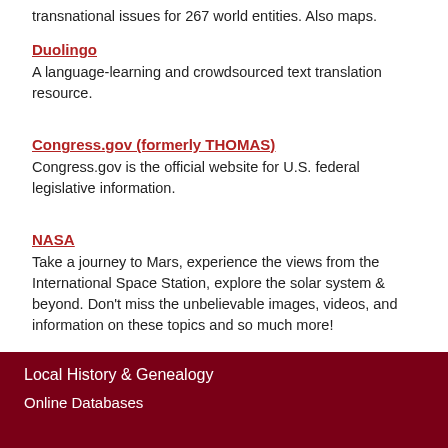transnational issues for 267 world entities. Also maps.
Duolingo
A language-learning and crowdsourced text translation resource.
Congress.gov (formerly THOMAS)
Congress.gov is the official website for U.S. federal legislative information.
NASA
Take a journey to Mars, experience the views from the International Space Station, explore the solar system & beyond. Don't miss the unbelievable images, videos, and information on these topics and so much more!
Local History & Genealogy
Online Databases